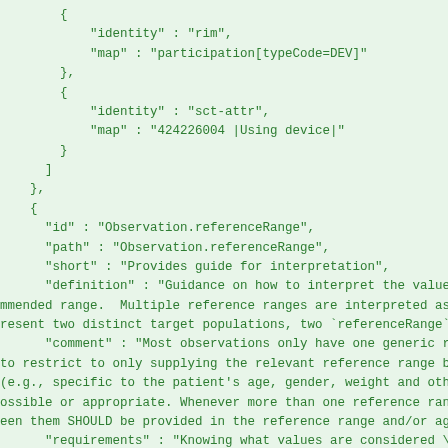JSON/code block showing FHIR Observation.referenceRange structure with identity, map, id, path, short, definition, comment, requirements, min, max, base fields